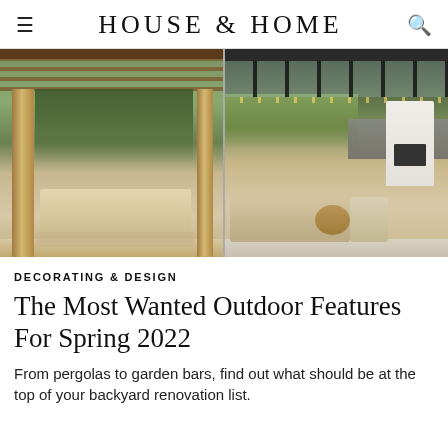HOUSE & HOME
[Figure (photo): Two side-by-side outdoor patio photos: left shows a wooden pergola over a dining table with chairs surrounded by greenery; right shows a modern glass-roofed outdoor lounge with sofa, coffee tables, and a white fireplace.]
DECORATING & DESIGN
The Most Wanted Outdoor Features For Spring 2022
From pergolas to garden bars, find out what should be at the top of your backyard renovation list.